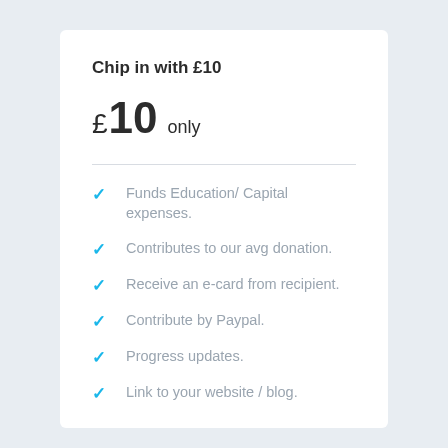Chip in with £10
£10 only
Funds Education/ Capital expenses.
Contributes to our avg donation.
Receive an e-card from recipient.
Contribute by Paypal.
Progress updates.
Link to your website / blog.